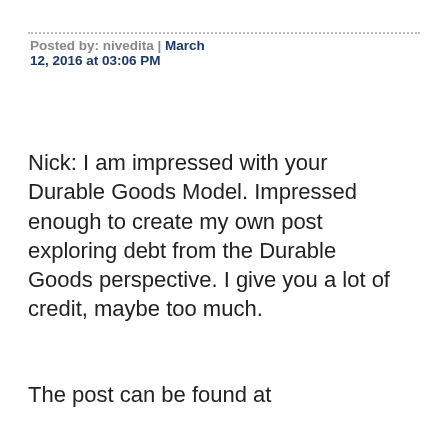Posted by: nivedita | March 12, 2016 at 03:06 PM
Nick: I am impressed with your Durable Goods Model. Impressed enough to create my own post exploring debt from the Durable Goods perspective. I give you a lot of credit, maybe too much.
The post can be found at
http://mechanicalmoney.blogsp durable-goods-model-and-debt.html
I understand that the math for the model is not yet well described, as I suggested in